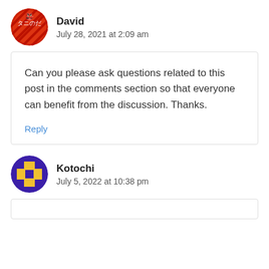David
July 28, 2021 at 2:09 am
Can you please ask questions related to this post in the comments section so that everyone can benefit from the discussion. Thanks.
Reply
Kotochi
July 5, 2022 at 10:38 pm